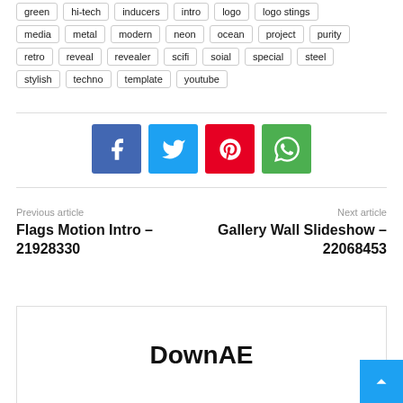green  hi-tech  inducers  intro  logo  logo stings
media  metal  modern  neon  ocean  project  purity
retro  reveal  revealer  scifi  soial  special  steel
stylish  techno  template  youtube
[Figure (infographic): Four social media share buttons: Facebook (blue), Twitter (cyan), Pinterest (red), WhatsApp (green)]
Previous article
Flags Motion Intro – 21928330
Next article
Gallery Wall Slideshow – 22068453
DownAE